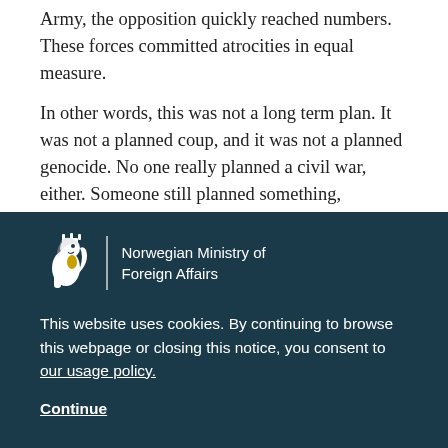Army, the opposition quickly reached numbers. These forces committed atrocities in equal measure.
In other words, this was not a long term plan. It was not a planned coup, and it was not a planned genocide. No one really planned a civil war, either. Someone still planned something, however. And those most involved were two people. Paul Malong
[Figure (logo): Norwegian Ministry of Foreign Affairs logo with lion crest]
This website uses cookies. By continuing to browse this webpage or closing this notice, you consent to our usage policy.
Continue